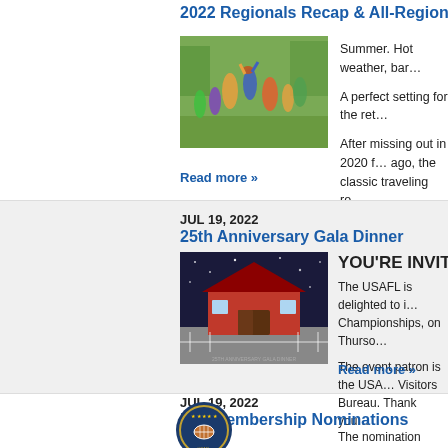2022 Regionals Recap & All-Regionals Te…
[Figure (photo): Outdoor Australian football game, players jumping for the ball on a green grass field.]
Summer. Hot weather, bar…
A perfect setting for the ret…
After missing out in 2020 f… ago, the classic traveling ro…
Read more »
JUL 19, 2022
25th Anniversary Gala Dinner
[Figure (photo): 25th Anniversary Gala Dinner invitation card showing a painted red barn under a starry sky. Text reads: 25TH ANNIVERSARY GALA DINNER, THURSDAY OCTOBER 13TH 2022.]
YOU'RE INVITED!
The USAFL is delighted to i… Championships, on Thurso…
The event patron is the USa… Visitors Bureau. Thank you…
Read more »
JUL 19, 2022
Life Membership Nominations Open
[Figure (logo): USAFL circular logo with stars and football design on dark blue background.]
The nomination process fo…